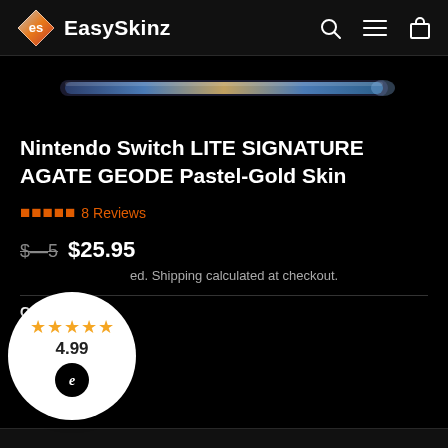EasySkinz
[Figure (photo): Partial product image strip showing the edge of a Nintendo Switch Lite with a blue/gold agate geode skin applied, against a black background.]
Nintendo Switch LITE SIGNATURE AGATE GEODE Pastel-Gold Skin
★★★★★8 Reviews
$25.95
Shipping calculated at checkout.
COLOR R
[Figure (infographic): Circular rating badge overlay showing 5 gold stars, score 4.99, and an 'e' logo (Ekomi or similar ratings provider) in a black circle.]